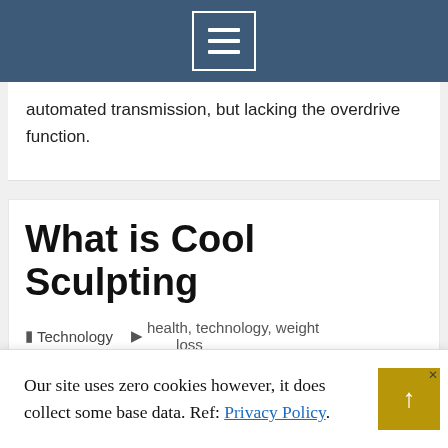[Navigation menu button]
automated transmission, but lacking the overdrive function.
What is Cool Sculpting
Technology  health, technology, weight loss
Our site uses zero cookies however, it does collect some base data. Ref: Privacy Policy.